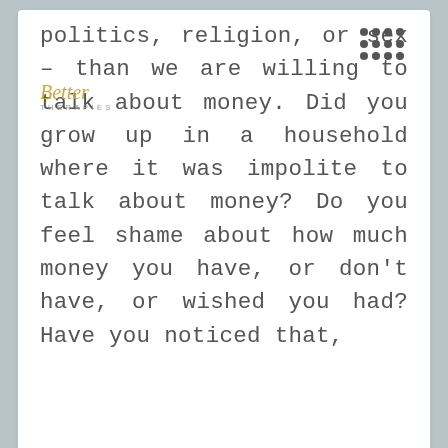[Figure (logo): Better Therapies logo with script 'Better' in gold and 'THERAPIES' in small caps gray]
politics, religion, or sex – than we are willing to talk about money. Did you grow up in a household where it was impolite to talk about money? Do you feel shame about how much money you have, or don't have, or wished you had? Have you noticed that,
[Figure (illustration): Teal/blue right-pointing arrow]
[Figure (photo): Photo of a microphone against a light/white background, partially visible at bottom of page]